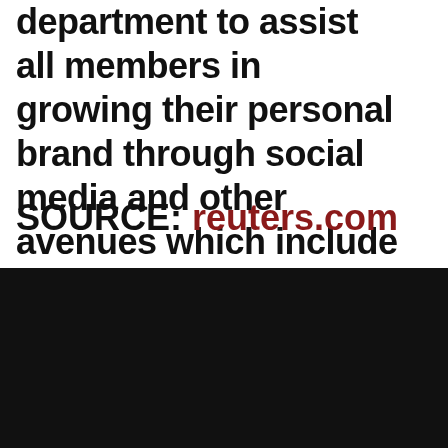department to assist all members in growing their personal brand through social media and other avenues which include non-traditional media opportunities.
SOURCE: reuters.com
THE OAKS GOLF COURSE
4740 Pierceville Road